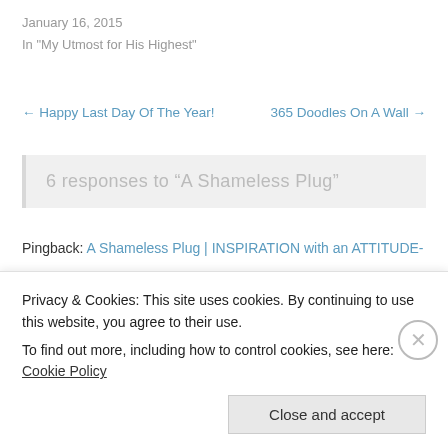January 16, 2015
In "My Utmost for His Highest"
← Happy Last Day Of The Year!    365 Doodles On A Wall →
6 responses to “A Shameless Plug”
Pingback: A Shameless Plug | INSPIRATION with an ATTITUDE-
dawnlizjones  January 3, 2016 at 9:11 pm · Reply →
AWESOME!!
Privacy & Cookies: This site uses cookies. By continuing to use this website, you agree to their use.
To find out more, including how to control cookies, see here: Cookie Policy
Close and accept